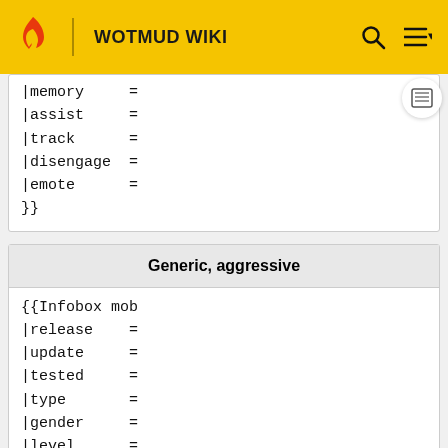WOTMUD WIKI
|memory     =
|assist     =
|track      =
|disengage  =
|emote      =
}}
| Generic, aggressive |
| --- |
| {{Infobox mob
|release    =
|update     =
|tested     =
|type       =
|gender     =
|level      =
|height     =
|weight     = |